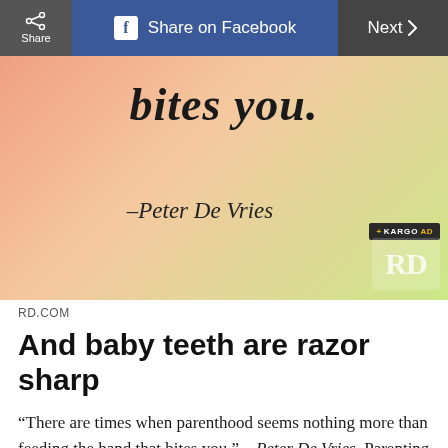Share | Share on Facebook | Next
[Figure (illustration): Advertisement image with gradient background (peach to yellow-green). Large italic text reading 'bites you!' at top. Attribution '–Peter De Vries' in italic serif below. Kargo Ad badge and RD logo in bottom-right corner.]
RD.COM
And baby teeth are razor sharp
“There are times when parenthood seems nothing more than feeding the hand that bites you.” – Peter De Vries. Parenting can be a truly thankless job—where else can you do everything exactly as the customer ordered it only to have them throw it at you and break down screaming for no reason at all? But that’s parenting—the longest test of